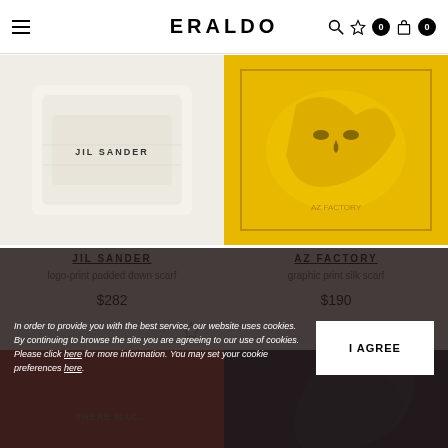ERALDO — navigation header with hamburger menu, search, wishlist (0), and bag (0)
[Figure (photo): Jil Sander logo-print padded down scarf — cream/white folded scarf with JIL SANDER text visible]
[Figure (photo): AZ Factory graphic print silk scarf — yellow background with bold animal graphic print]
JIL SANDER
logo-print padded down scarf
$282
AZ FACTORY
graphic print silk scarf
$190
[Figure (photo): Partially visible product — dark navy/black scarf or garment on right side]
In order to provide you with the best service, our website uses cookies. By continuing to browse the site you are agreeing to our use of cookies. Please click here for more information. You may set your cookie preferences here.